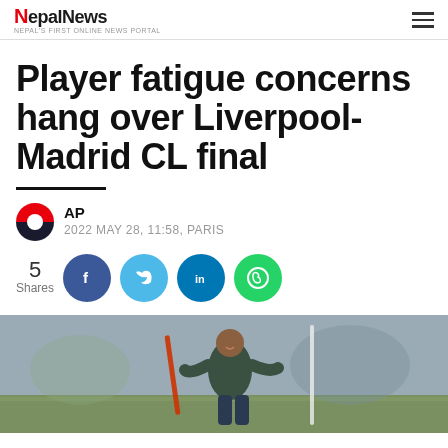NepalNews — Nepal's first online news portal
Player fatigue concerns hang over Liverpool-Madrid CL final
AP — 2022 MAY 28, 11:58, PARIS
5 Shares
[Figure (photo): A smiling footballer in training gear on a grass pitch, photographed outdoors]